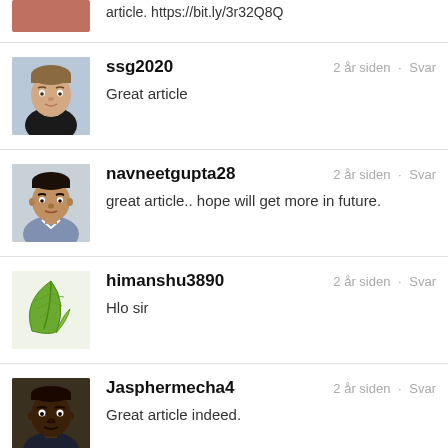article. https://bit.ly/3r32Q8Q
ssg2020
Great article
2 år siden · Svar
navneetgupta28
great article.. hope will get more in future.
2 år siden · Svar
himanshu3890
Hlo sir
2 år siden · Svar
Jasphermecha4
Great article indeed.
2 år siden · Svar